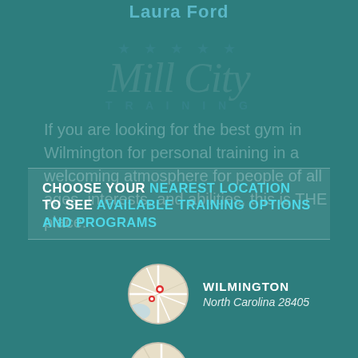Laura Ford
[Figure (logo): Mill City Training logo with cursive script text and stars above the word TRAINING]
If you are looking for the best gym in Wilmington for personal training in a welcoming atmosphere for people of all ages, interests, and abilities, this is THE place.
CHOOSE YOUR NEAREST LOCATION TO SEE AVAILABLE TRAINING OPTIONS AND PROGRAMS
[Figure (map): Circular map thumbnail showing Wilmington, NC area]
WILMINGTON
North Carolina 28405
[Figure (map): Circular map thumbnail showing Leland, NC area]
LELAND
North Carolina 28451